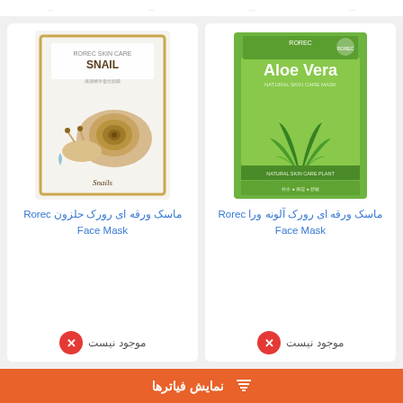[Figure (photo): Snail face mask product (Rorec brand) - white packaging with snail illustration]
ماسک ورقه ای رورک حلزون Rorec Face Mask
موجود نیست
[Figure (photo): Aloe Vera face mask product (Rorec brand) - green packaging with aloe vera plant]
ماسک ورقه ای رورک آلونه ورا Rorec Face Mask
موجود نیست
نمایش فیاترها